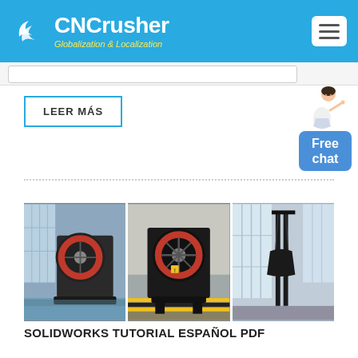[Figure (logo): CNCrusher logo with white swirl icon, white bold text 'CNCrusher' and yellow italic text 'Globalization & Localization' on blue header background]
LEER MÁS
[Figure (illustration): Free chat widget with woman figure pointing and blue bubble saying 'Free chat']
[Figure (photo): Three industrial crusher/mining machine photos side by side in a strip]
SOLIDWORKS TUTORIAL ESPAÑOL PDF